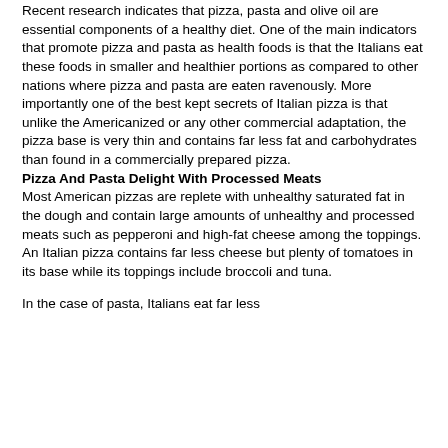Recent research indicates that pizza, pasta and olive oil are essential components of a healthy diet. One of the main indicators that promote pizza and pasta as health foods is that the Italians eat these foods in smaller and healthier portions as compared to other nations where pizza and pasta are eaten ravenously. More importantly one of the best kept secrets of Italian pizza is that unlike the Americanized or any other commercial adaptation, the pizza base is very thin and contains far less fat and carbohydrates than found in a commercially prepared pizza.
Pizza And Pasta Delight With Processed Meats
Most American pizzas are replete with unhealthy saturated fat in the dough and contain large amounts of unhealthy and processed meats such as pepperoni and high-fat cheese among the toppings. An Italian pizza contains far less cheese but plenty of tomatoes in its base while its toppings include broccoli and tuna.
In the case of pasta, Italians eat far less